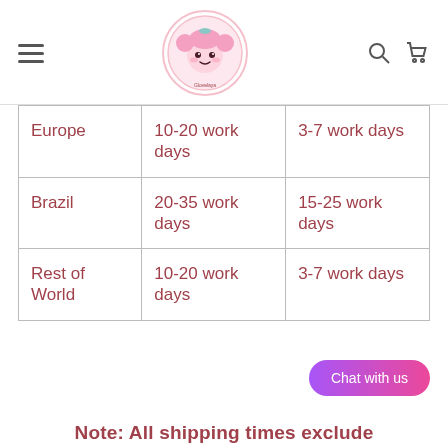Glovelaya logo with hamburger menu, search, and cart icons
| Europe | 10-20 work days | 3-7 work days |
| Brazil | 20-35 work days | 15-25 work days |
| Rest of World | 10-20 work days | 3-7 work days |
Chat with us
Note: All shipping times exclude